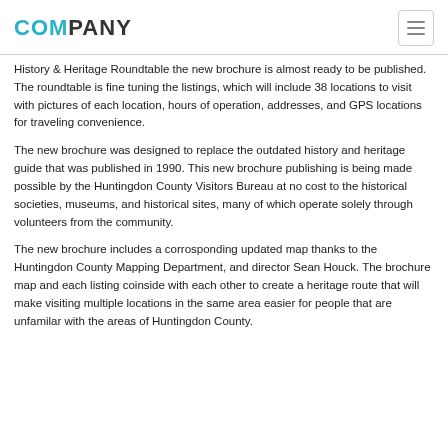COMPANY
History & Heritage Roundtable the new brochure is almost ready to be published. The roundtable is fine tuning the listings, which will include 38 locations to visit with pictures of each location, hours of operation, addresses, and GPS locations for traveling convenience.
The new brochure was designed to replace the outdated history and heritage guide that was published in 1990. This new brochure publishing is being made possible by the Huntingdon County Visitors Bureau at no cost to the historical societies, museums, and historical sites, many of which operate solely through volunteers from the community.
The new brochure includes a corrosponding updated map thanks to the Huntingdon County Mapping Department, and director Sean Houck. The brochure map and each listing coinside with each other to create a heritage route that will make visiting multiple locations in the same area easier for people that are unfamilar with the areas of Huntingdon County.